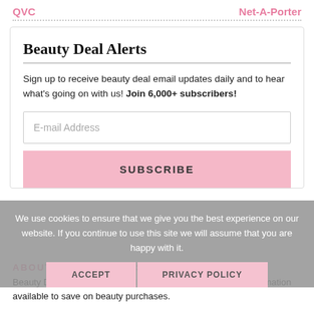QVC   Net-A-Porter
Beauty Deal Alerts
Sign up to receive beauty deal email updates daily and to hear what's going on with us! Join 6,000+ subscribers!
E-mail Address
SUBSCRIBE
We use cookies to ensure that we give you the best experience on our website. If you continue to use this site we will assume that you are happy with it.
ACCEPT   PRIVACY POLICY
ABOUT BEAUTY DEALS BFF
Beauty Deals BFF, established in 2017,  provides the best information available to save on beauty purchases.